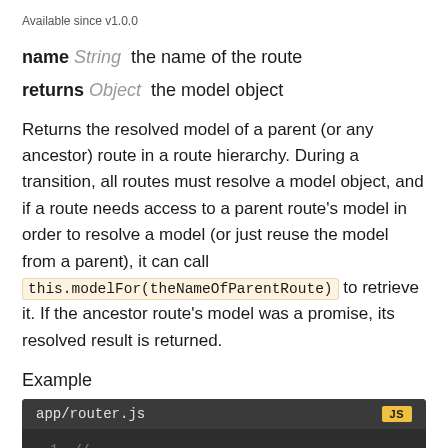Available since v1.0.0
name String  the name of the route
returns Object  the model object
Returns the resolved model of a parent (or any ancestor) route in a route hierarchy. During a transition, all routes must resolve a model object, and if a route needs access to a parent route's model in order to resolve a model (or just reuse the model from a parent), it can call this.modelFor(theNameOfParentRoute) to retrieve it. If the ancestor route's model was a promise, its resolved result is returned.
Example
[Figure (screenshot): Code block showing app/router.js with JS badge, lines 1 and 2 visible. Line 1 contains '// ...' comment.]